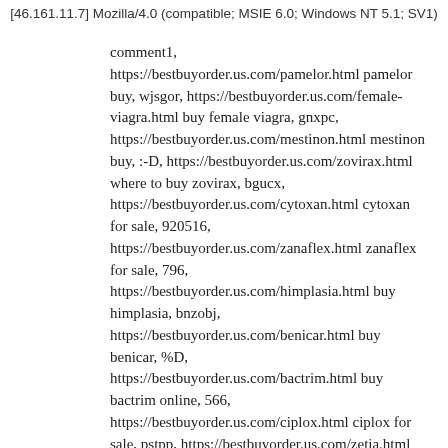[46.161.11.7] Mozilla/4.0 (compatible; MSIE 6.0; Windows NT 5.1; SV1)
comment1, https://bestbuyorder.us.com/pamelor.html pamelor buy, wjsgor, https://bestbuyorder.us.com/female-viagra.html buy female viagra, gnxpc, https://bestbuyorder.us.com/mestinon.html mestinon buy, :-D, https://bestbuyorder.us.com/zovirax.html where to buy zovirax, bgucx, https://bestbuyorder.us.com/cytoxan.html cytoxan for sale, 920516, https://bestbuyorder.us.com/zanaflex.html zanaflex for sale, 796, https://bestbuyorder.us.com/himplasia.html buy himplasia, bnzobj, https://bestbuyorder.us.com/benicar.html buy benicar, %D, https://bestbuyorder.us.com/bactrim.html buy bactrim online, 566, https://bestbuyorder.us.com/ciplox.html ciplox for sale, pstpp, https://bestbuyorder.us.com/zetia.html buy zetia, 004, https://bestbuyorder.us.com/nemasole.html nemasole for sale, taa, https://bestbuyorder.us.com/zenegra.html buy zenegra, ffvj, https://bestbuyorder.us.com/oxytrol.html oxytrol, 8PP, https://bestbuyorder.us.com/differin.html differin for sale, =-PP,